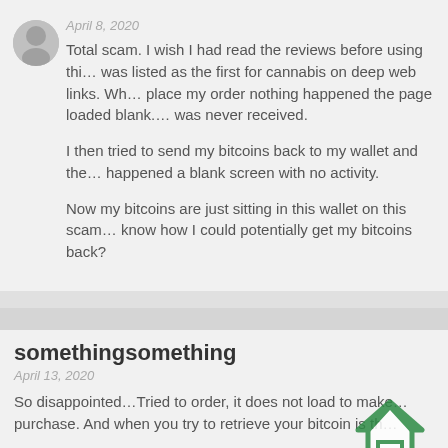April 8, 2020
Total scam. I wish I had read the reviews before using this. It was listed as the first for cannabis on deep web links. When I place my order nothing happened the page loaded blank. And was never received.
I then tried to send my bitcoins back to my wallet and the same happened a blank screen with no activity.
Now my bitcoins are just sitting in this wallet on this scam. Does know how I could potentially get my bitcoins back?
somethingsomething
April 13, 2020
So disappointed...Tried to order, it does not load to make a purchase. And when you try to retrieve your bitcoin this th... So pissed off!!! Should eradicate this site...So end of stor...